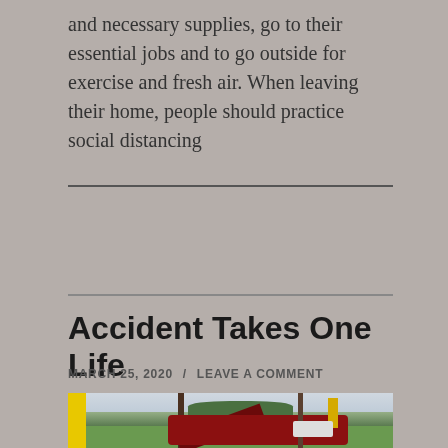and necessary supplies, go to their essential jobs and to go outside for exercise and fresh air. When leaving their home, people should practice social distancing
Accident Takes One Life
MARCH 25, 2020 / LEAVE A COMMENT
[Figure (photo): Photo of a red SUV that has crashed into a utility pole, with the hood open. A yellow sign is visible on the left, trees in the background, and a white vehicle on the right side of the scene. Green grass and open sky are visible.]